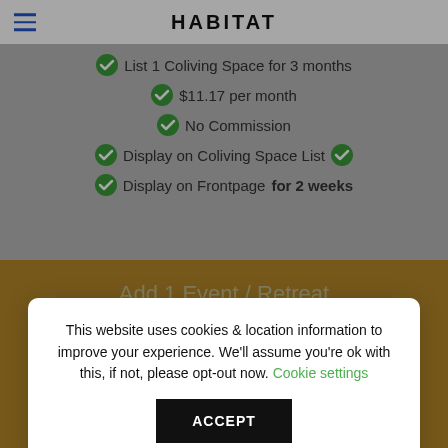HABITAT
List 1 Coliving Space for 3 months
$11.17 per month
No Commission
Display on Coliving Space List
Display on Frontpage for 2 weeks
This website uses cookies & location information to improve your experience. We'll assume you're ok with this, if not, please opt-out now. Cookie settings
ACCEPT
Add 1 Event / Retreat for 3 Months
$18.00